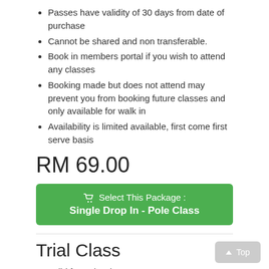Passes have validity of 30 days from date of purchase
Cannot be shared and non transferable.
Book in members portal if you wish to attend any classes
Booking made but does not attend may prevent you from booking future classes and only available for walk in
Availability is limited available, first come first serve basis
RM 69.00
Select This Package : Single Drop In - Pole Class
Trial Class
Valid for Pole Class.
Trial only once
1 Pass for 1 Class